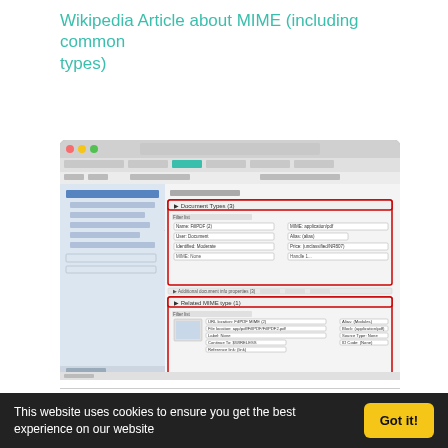Wikipedia Article about MIME (including common types)
[Figure (screenshot): Screenshot of a software application (likely a document management or email client) showing MIME type configuration panels with red highlighted boxes around Document Types and Related MIME Type sections, with a tree navigation panel on the left.]
SpaceDebris online
[Figure (logo): Blue circular logo icon]
This website uses cookies to ensure you get the best experience on our website
Got it!